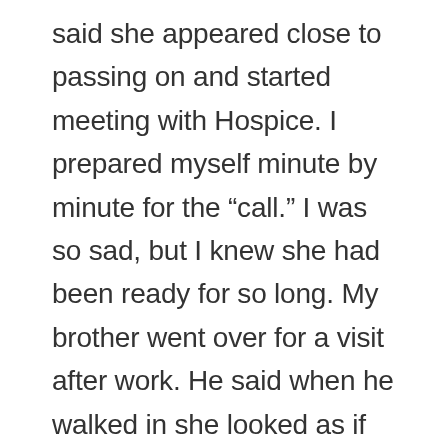said she appeared close to passing on and started meeting with Hospice. I prepared myself minute by minute for the “call.” I was so sad, but I knew she had been ready for so long. My brother went over for a visit after work. He said when he walked in she looked as if she could go any minute. But only 30 minutes later, she woke up and started talking. She was confused, and mad! But, to say she did a 180 is an understatement. When my dad returned, he said she was back to complaining about everything which is a